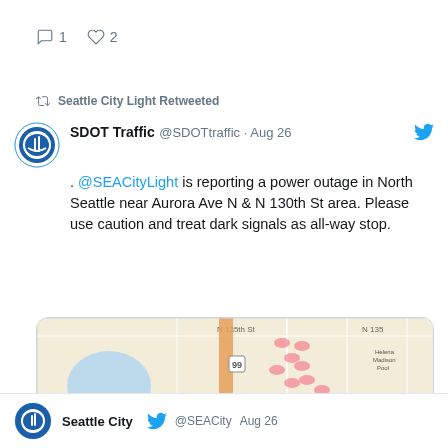comment 1  heart 2
Seattle City Light Retweeted
SDOT Traffic @SDOTtraffic · Aug 26
. @SEACityLight is reporting a power outage in North Seattle near Aurora Ave N & N 130th St area. Please use caution and treat dark signals as all-way stop.
[Figure (map): Map showing North Seattle area near Aurora Ave N and N 130th St with red location marker and multiple red oval markers indicating outage affected areas around Haller Lake neighborhood]
comment 1  heart 4
Seattle City @SEACity Aug 26